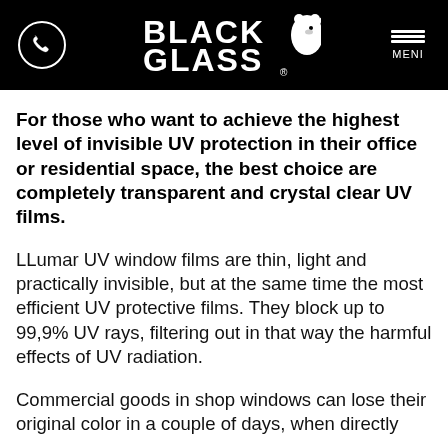BLACK GLASS [logo with bear]
For those who want to achieve the highest level of invisible UV protection in their office or residential space, the best choice are completely transparent and crystal clear UV films.
LLumar UV window films are thin, light and practically invisible, but at the same time the most efficient UV protective films. They block up to 99,9% UV rays, filtering out in that way the harmful effects of UV radiation.
Commercial goods in shop windows can lose their original color in a couple of days, when directly